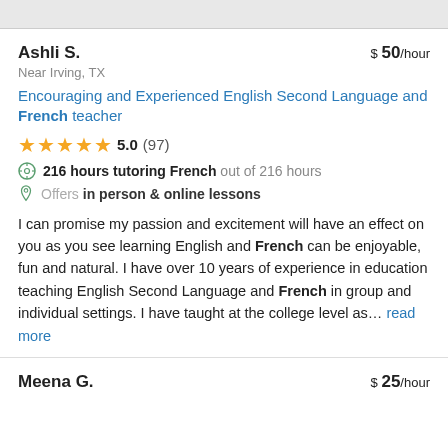Ashli S.
$ 50/hour
Near Irving, TX
Encouraging and Experienced English Second Language and French teacher
5.0 (97)
216 hours tutoring French out of 216 hours
Offers in person & online lessons
I can promise my passion and excitement will have an effect on you as you see learning English and French can be enjoyable, fun and natural. I have over 10 years of experience in education teaching English Second Language and French in group and individual settings. I have taught at the college level as... read more
Meena G.
$ 25/hour